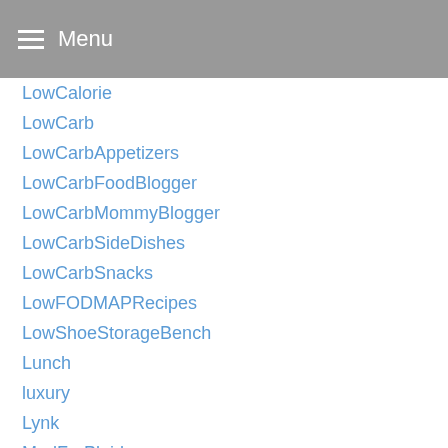Menu
LowCalorie
LowCarb
LowCarbAppetizers
LowCarbFoodBlogger
LowCarbMommyBlogger
LowCarbSideDishes
LowCarbSnacks
LowFODMAPRecipes
LowShoeStorageBench
Lunch
luxury
Lynk
MadForPlaid
Main
MainCourse
MainDish
MainDishes